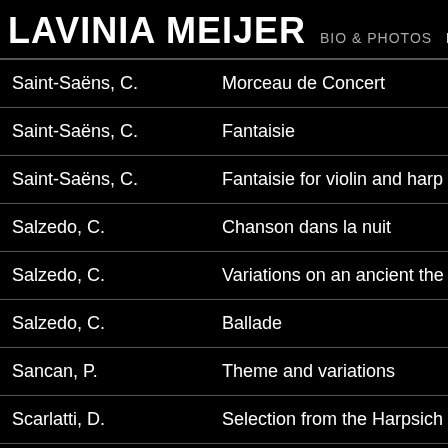LAVINIA MEIJER  BIO & PHOTOS  REPER
| Composer | Work |
| --- | --- |
| Saint-Saëns, C. | Morceau de Concert |
| Saint-Saëns, C. | Fantaisie |
| Saint-Saëns, C. | Fantaisie for violin and harp |
| Salzedo, C. | Chanson dans la nuit |
| Salzedo, C. | Variations on an ancient the |
| Salzedo, C. | Ballade |
| Sancan, P. | Theme and variations |
| Scarlatti, D. | Selection from the Harpsich |